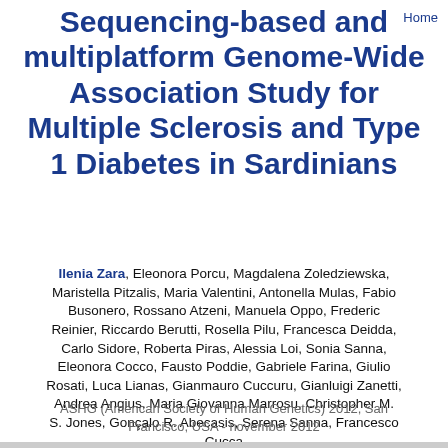Sequencing-based and multiplatform Genome-Wide Association Study for Multiple Sclerosis and Type 1 Diabetes in Sardinians
Home
Ilenia Zara, Eleonora Porcu, Magdalena Zoledziewska, Maristella Pitzalis, Maria Valentini, Antonella Mulas, Fabio Busonero, Rossano Atzeni, Manuela Oppo, Frederic Reinier, Riccardo Berutti, Rosella Pilu, Francesca Deidda, Carlo Sidore, Roberta Piras, Alessia Loi, Sonia Sanna, Eleonora Cocco, Fausto Poddie, Gabriele Farina, Giulio Rosati, Luca Lianas, Gianmauro Cuccuru, Gianluigi Zanetti, Andrea Angius, Maria Giovanna Marrosu, Christopher M. S. Jones, Gonçalo R. Abecasis, Serena Sanna, Francesco Cucca
ASHG (American Society of Human Genetics) 2012, San Francisco, USA - november 2012